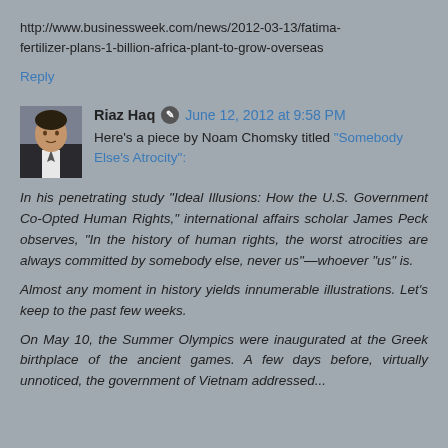http://www.businessweek.com/news/2012-03-13/fatima-fertilizer-plans-1-billion-africa-plant-to-grow-overseas
Reply
Riaz Haq  June 12, 2012 at 9:58 PM
[Figure (photo): Avatar photo of Riaz Haq, a man in a suit]
Here's a piece by Noam Chomsky titled "Somebody Else's Atrocity":
In his penetrating study “Ideal Illusions: How the U.S. Government Co-Opted Human Rights,” international affairs scholar James Peck observes, “In the history of human rights, the worst atrocities are always committed by somebody else, never us”—whoever “us” is.
Almost any moment in history yields innumerable illustrations. Let's keep to the past few weeks.
On May 10, the Summer Olympics were inaugurated at the Greek birthplace of the ancient games. A few days before, virtually unnoticed, the government of Vietnam addressed...